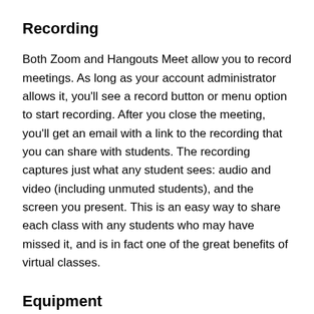Recording
Both Zoom and Hangouts Meet allow you to record meetings. As long as your account administrator allows it, you'll see a record button or menu option to start recording. After you close the meeting, you'll get an email with a link to the recording that you can share with students. The recording captures just what any student sees: audio and video (including unmuted students), and the screen you present. This is an easy way to share each class with any students who may have missed it, and is in fact one of the great benefits of virtual classes.
Equipment